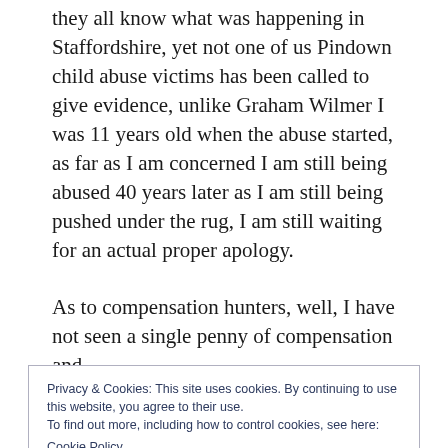they all know what was happening in Staffordshire, yet not one of us Pindown child abuse victims has been called to give evidence, unlike Graham Wilmer I was 11 years old when the abuse started, as far as I am concerned I am still being abused 40 years later as I am still being pushed under the rug, I am still waiting for an actual proper apology.
As to compensation hunters, well, I have not seen a single penny of compensation and
Privacy & Cookies: This site uses cookies. By continuing to use this website, you agree to their use.
To find out more, including how to control cookies, see here:
Cookie Policy
Staffordshire, well I haven't even benefitted